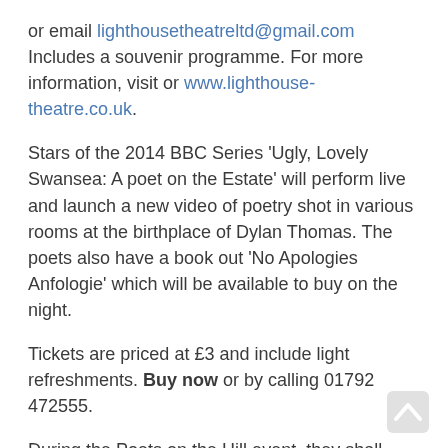or email lighthousetheatreltd@gmail.com Includes a souvenir programme. For more information, visit or www.lighthouse-theatre.co.uk.
Stars of the 2014 BBC Series 'Ugly, Lovely Swansea: A poet on the Estate' will perform live and launch a new video of poetry shot in various rooms at the birthplace of Dylan Thomas. The poets also have a book out 'No Apologies Anfologie' which will be available to buy on the night.
Tickets are priced at £3 and include light refreshments. Buy now or by calling 01792 472555.
During the Poets on the Hill event, they shall also be announcing A Garden for Dylan, the launch of a major legacy project to create an Edwardian rear garden at 5 Cwmdonkin Drive.